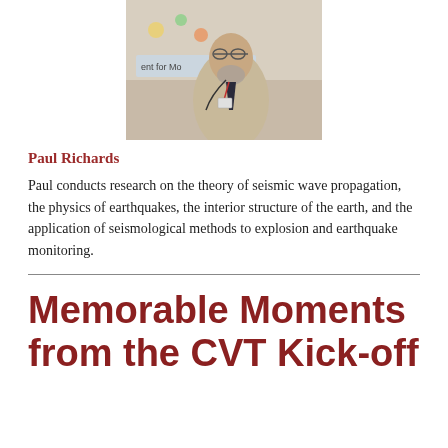[Figure (photo): Photo of Paul Richards speaking at a podium in front of a banner reading 'ment for Mo... and ...']
Paul Richards
Paul conducts research on the theory of seismic wave propagation, the physics of earthquakes, the interior structure of the earth, and the application of seismological methods to explosion and earthquake monitoring.
Memorable Moments from the CVT Kick-off